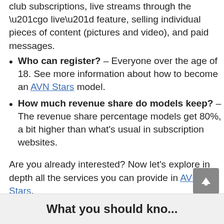club subscriptions, live streams through the “go live” feature, selling individual pieces of content (pictures and video), and paid messages.
Who can register? – Everyone over the age of 18. See more information about how to become an AVN Stars model.
How much revenue share do models keep? – The revenue share percentage models get 80%, a bit higher than what’s usual in subscription websites.
Are you already interested? Now let’s explore in depth all the services you can provide in AVN Stars.
What you should know...